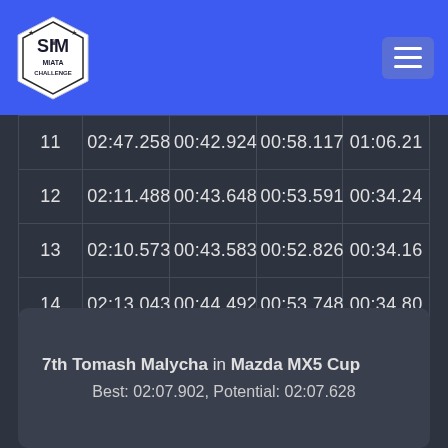SIM Miata Challenge logo and navigation
| # | Lap Time | S1 | S2 | S3 |
| --- | --- | --- | --- | --- |
| 11 | 02:47.258 | 00:42.924 | 00:58.117 | 01:06.21 |
| 12 | 02:11.488 | 00:43.648 | 00:53.591 | 00:34.24 |
| 13 | 02:10.573 | 00:43.583 | 00:52.826 | 00:34.16 |
| 14 | 02:13.043 | 00:44.492 | 00:53.748 | 00:34.80 |
| 15 | 02:09.791 | 00:42.910 | 00:52.551 | 00:34.33 |
7th Tomash Malycha in Mazda MX5 Cup
Best: 02:07.902, Potential: 02:07.628